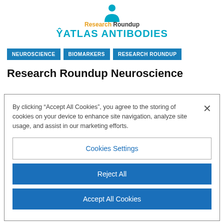[Figure (logo): Atlas Antibodies Research Roundup logo with person icon, orange 'Research Roundup' text, and teal 'ATLAS ANTIBODIES' text]
NEUROSCIENCE
BIOMARKERS
RESEARCH ROUNDUP
Research Roundup Neuroscience
By clicking “Accept All Cookies”, you agree to the storing of cookies on your device to enhance site navigation, analyze site usage, and assist in our marketing efforts.
Cookies Settings
Reject All
Accept All Cookies